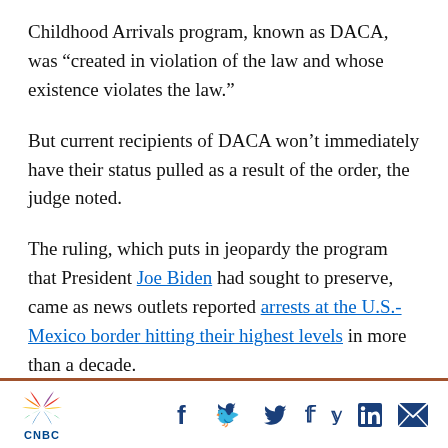Childhood Arrivals program, known as DACA, was “created in violation of the law and whose existence violates the law.”
But current recipients of DACA won’t immediately have their status pulled as a result of the order, the judge noted.
The ruling, which puts in jeopardy the program that President Joe Biden had sought to preserve, came as news outlets reported arrests at the U.S.-Mexico border hitting their highest levels in more than a decade.
CNBC logo with social media icons: Facebook, Twitter, LinkedIn, Email